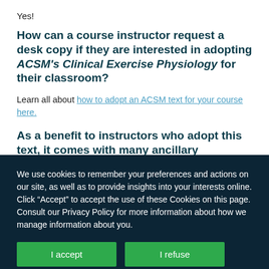Yes!
How can a course instructor request a desk copy if they are interested in adopting ACSM's Clinical Exercise Physiology for their classroom?
Learn all about how to adopt an ACSM text for your course here.
As a benefit to instructors who adopt this text, it comes with many ancillary resources. Can you tell us about those?
A number of resources are available to the instructor of...
We use cookies to remember your preferences and actions on our site, as well as to provide insights into your interests online. Click “Accept” to accept the use of these Cookies on this page. Consult our Privacy Policy for more information about how we manage information about you.